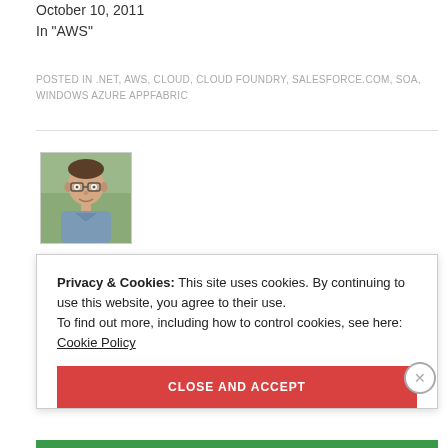October 10, 2011
In "AWS"
POSTED IN .NET, AWS, CLOUD, CLOUD FOUNDRY, SALESFORCE.COM, SOA, WINDOWS AZURE APPFABRIC
[Figure (photo): Author headshot photo - man with glasses and short hair]
Privacy & Cookies: This site uses cookies. By continuing to use this website, you agree to their use.
To find out more, including how to control cookies, see here: Cookie Policy
CLOSE AND ACCEPT